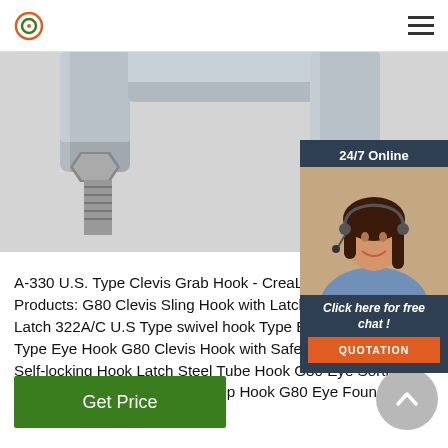Navigation bar with logo and hamburger menu
[Figure (photo): Close-up photo of metal U-bolt hardware with hex nuts and threaded ends on a white background]
[Figure (photo): 24/7 Online customer service agent - woman with headset smiling, with chat panel overlay showing '24/7 Online', 'Click here for free chat!' and 'QUOTATION' button]
A-330 U.S. Type Clevis Grab Hook - CreaLifting Related Products: G80 Clevis Sling Hook with Latch Sling Hook with Latch 322A/C U.S Type swivel hook Type Eye Hook 320A U.S Type Eye Hook G80 Clevis Hook with Safety Latch G80 Eye Self-locking Hook Latch Steel Tube Hook G80 Eye Sorting Hook A-331 U.S.Type Clevis Slip Hook G80 Eye Foundry Hook A-332 U.S ...
Get Price